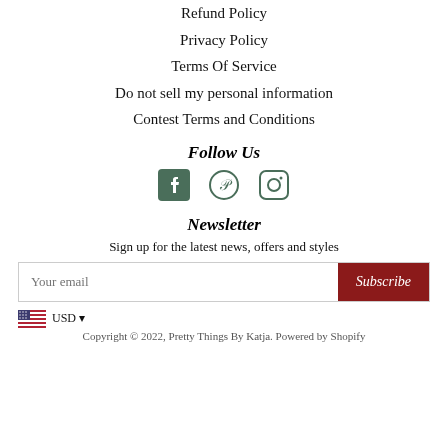Refund Policy
Privacy Policy
Terms Of Service
Do not sell my personal information
Contest Terms and Conditions
Follow Us
[Figure (infographic): Social media icons: Facebook, Pinterest, Instagram]
Newsletter
Sign up for the latest news, offers and styles
Your email / Subscribe button
USD
Copyright © 2022, Pretty Things By Katja. Powered by Shopify